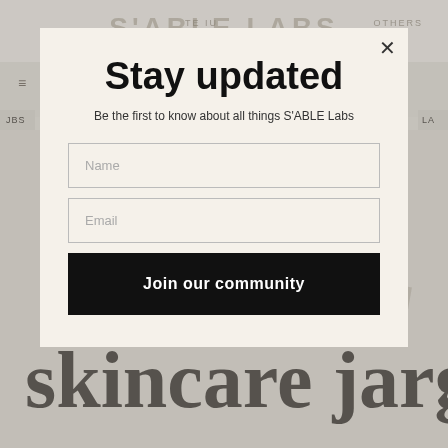[Figure (screenshot): Background website page for S'ABLE Labs skincare blog, partially obscured by modal overlay. Shows logo, navigation, and large text reading 'demystifying skincare jargon'.]
Stay updated
Be the first to know about all things S'ABLE Labs
Name
Email
Join our community